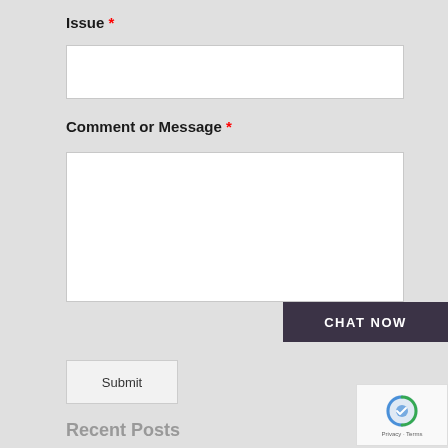Issue *
[Figure (other): Text input field for Issue]
Comment or Message *
[Figure (other): Textarea input field for Comment or Message]
CHAT NOW
Submit
Recent Posts
Griffin Realty Trust Plans Spin-off, Liquidation as NAV